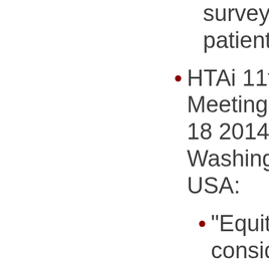survey of German patients"
HTAi 11th Annual Meeting, June 16-18 2014, Washington DC, USA:
"Equity considerations among HTA agencies: current practices and ways